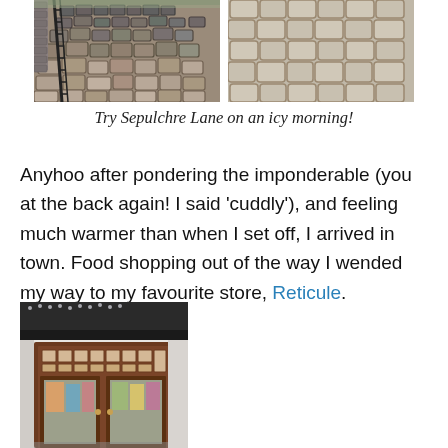[Figure (photo): Two side-by-side photos of cobblestone pavement on Sepulchre Lane, one showing a metal railing alongside the cobbles, the other a closer view of the stone surface.]
Try Sepulchre Lane on an icy morning!
Anyhoo after pondering the imponderable (you at the back again! I said ‘cuddly’), and feeling much warmer than when I set off, I arrived in town. Food shopping out of the way I wended my way to my favourite store, Reticule.
[Figure (photo): Photo of a shop front with dark wooden double doors with glass panes, a white rendered building facade, and colourful window displays visible through the glass.]